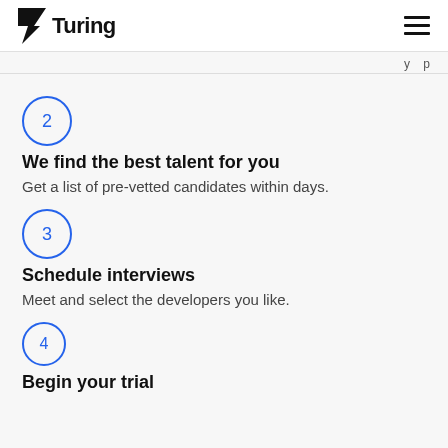Turing
...y...p...
2 We find the best talent for you
Get a list of pre-vetted candidates within days.
3 Schedule interviews
Meet and select the developers you like.
4 Begin your trial